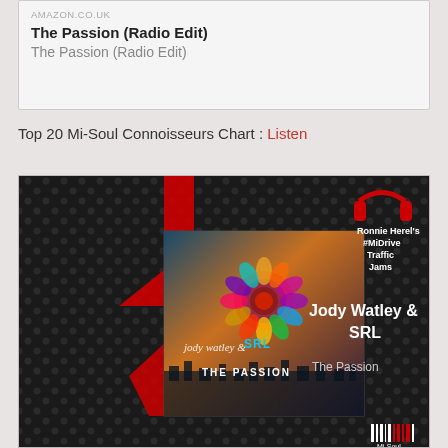[Figure (screenshot): Amazon.co.uk product listing showing 'The Passion (Radio Edit)' by Jody Watley & SRL, displayed as a card with bold title and gray subtitle]
Top 20 Mi-Soul Connoisseurs Chart : Listen
[Figure (photo): Promotional image for Jody Watley & SRL 'The Passion' featuring dark textured background with hexagonal pattern, red and black geometric shapes, album artwork inset showing colorful floral/heart motif with city skyline, headphone logo for Ronnie Herel's #MiDrive Traffic Jams, artist name 'Jody Watley & SRL' and track title 'The Passion' in white text, Mi-Soul barcode logo at bottom right]